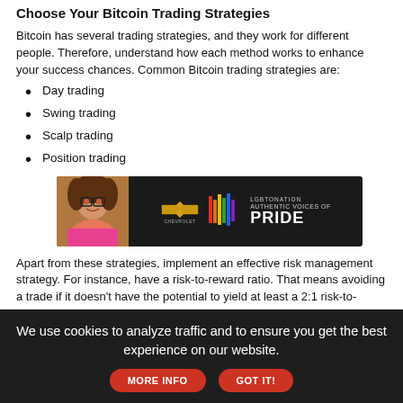Choose Your Bitcoin Trading Strategies
Bitcoin has several trading strategies, and they work for different people. Therefore, understand how each method works to enhance your success chances. Common Bitcoin trading strategies are:
Day trading
Swing trading
Scalp trading
Position trading
[Figure (photo): Advertisement banner: Chevrolet and LGBTQ Nation Authentic Voices of Pride promotional banner with a person wearing colorful attire]
Apart from these strategies, implement an effective risk management strategy. For instance, have a risk-to-reward ratio. That means avoiding a trade if it doesn't have the potential to yield at least a 2:1 risk-to-reward ratio. Also, implement a stop loss to place trades at the right moment. Risk-to-reward ratio and a stop
We use cookies to analyze traffic and to ensure you get the best experience on our website.